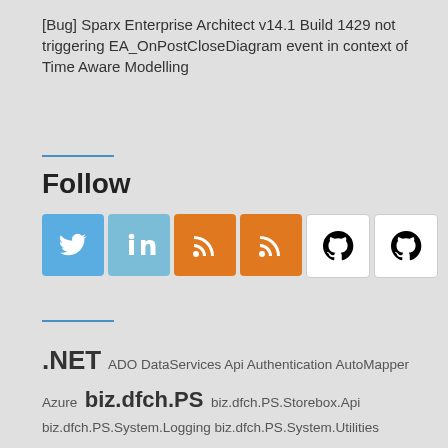[Bug] Sparx Enterprise Architect v14.1 Build 1429 not triggering EA_OnPostCloseDiagram event in context of Time Aware Modelling
Follow
[Figure (infographic): Social media follow icons: Twitter (blue), LinkedIn (light blue), RSS (orange, x2), GitHub (white, x2)]
.NET ADO DataServices Api Authentication AutoMapper Azure biz.dfch.PS biz.dfch.PS.Storebox.Api biz.dfch.PS.System.Logging biz.dfch.PS.System.Utilities biz.dfch.PS.vCAC.Utilities biz.dfch.VCO bugC# SharePoint